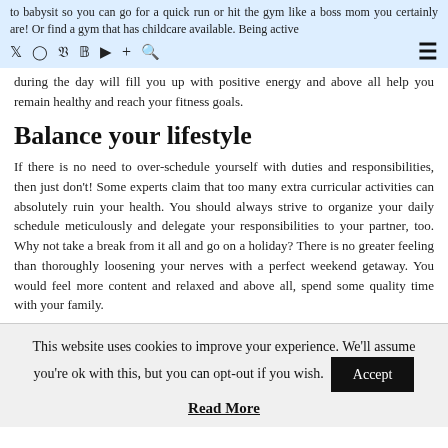to babysit so you can go for a quick run or hit the gym like a boss mom you certainly are! Or find a gym that has childcare available. Being active during the day will fill you up with positive energy and above all help you remain healthy and reach your fitness goals.
Balance your lifestyle
If there is no need to over-schedule yourself with duties and responsibilities, then just don't! Some experts claim that too many extra curricular activities can absolutely ruin your health. You should always strive to organize your daily schedule meticulously and delegate your responsibilities to your partner, too. Why not take a break from it all and go on a holiday? There is no greater feeling than thoroughly loosening your nerves with a perfect weekend getaway. You would feel more content and relaxed and above all, spend some quality time with your family.
This website uses cookies to improve your experience. We'll assume you're ok with this, but you can opt-out if you wish.
Read More